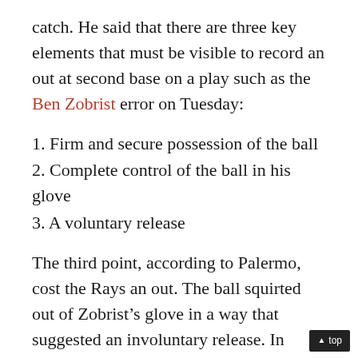catch. He said that there are three key elements that must be visible to record an out at second base on a play such as the Ben Zobrist error on Tuesday:
1. Firm and secure possession of the ball
2. Complete control of the ball in his glove
3. A voluntary release
The third point, according to Palermo, cost the Rays an out. The ball squirted out of Zobrist’s glove in a way that suggested an involuntary release. In Washington’s mind, the catch completes the out, and any subsequent release is part of the transfer. But, as we learned yesterday—and as this explanation confirmed—that is not the case in the league’s view.